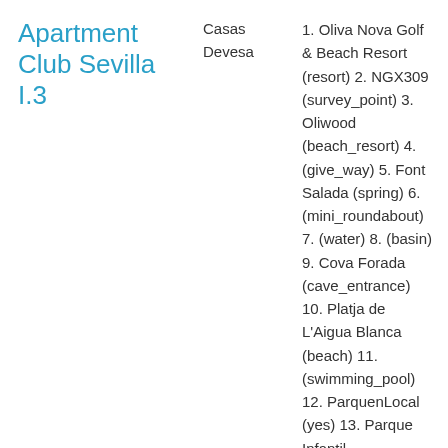| Property | Location | Points of Interest |
| --- | --- | --- |
| Apartment Club Sevilla I.3 | Casas Devesa | 1. Oliva Nova Golf & Beach Resort (resort) 2. NGX309 (survey_point) 3. Oliwood (beach_resort) 4. (give_way) 5. Font Salada (spring) 6. (mini_roundabout) 7. (water) 8. (basin) 9. Cova Forada (cave_entrance) 10. Platja de L'Aigua Blanca (beach) 11. (swimming_pool) 12. ParquenLocal (yes) 13. Parque Infantil (playground) |
| Atmosfera | Casas Devesa | 1. NGM51 (survey_point) 2. (mini_roundabout) 3. Oliva Nova Golf & Beach Resort (resort) 4. Font Salada (spring) 5. Radar 90 kmh (speed_camera) 6. Oliwood |